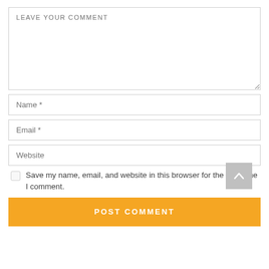LEAVE YOUR COMMENT
Name *
Email *
Website
Save my name, email, and website in this browser for the next time I comment.
POST COMMENT